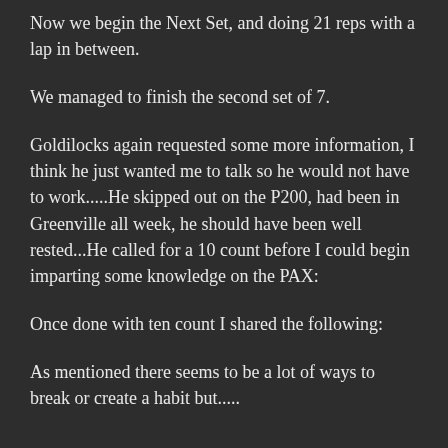Now we begin the Next Set, and doing 21 reps with a lap in between.
We managed to finish the second set of 7.
Goldilocks again requested some more information, I think he just wanted me to talk so he would not have to work.....He skipped out on the P200, had been in Greenville all week, he should have been well rested...He called for a 10 count before I could begin imparting some knowledge on the PAX:
Once done with ten count I shared the following:
As mentioned there seems to be a lot of ways to break or create a habit but.....